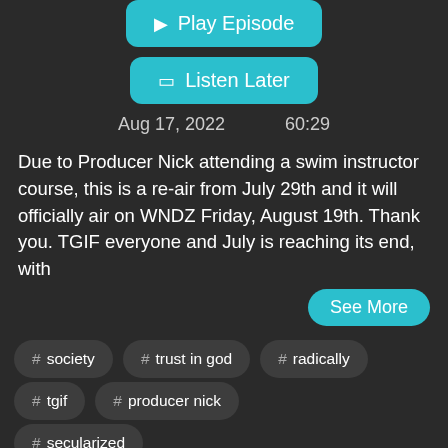[Figure (screenshot): Play Episode button - teal rounded rectangle]
[Figure (screenshot): Listen Later button - teal rounded rectangle]
Aug 17, 2022    60:29
Due to Producer Nick attending a swim instructor course, this is a re-air from July 29th and it will officially air on WNDZ Friday, August 19th.  Thank you. TGIF everyone and July is reaching its end, with
See More
# society
# trust in god
# radically
# tgif
# producer nick
# secularized